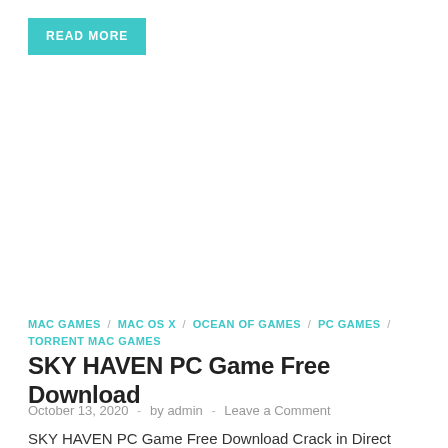READ MORE
MAC GAMES / MAC OS X / OCEAN OF GAMES / PC GAMES / TORRENT MAC GAMES
SKY HAVEN PC Game Free Download
October 13, 2020  -  by admin  -  Leave a Comment
SKY HAVEN PC Game Free Download Crack in Direct